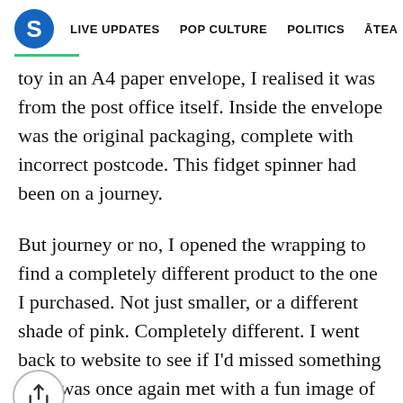S  LIVE UPDATES  POP CULTURE  POLITICS  ĀTEA
toy in an A4 paper envelope, I realised it was from the post office itself. Inside the envelope was the original packaging, complete with incorrect postcode. This fidget spinner had been on a journey.
But journey or no, I opened the wrapping to find a completely different product to the one I purchased. Not just smaller, or a different shade of pink. Completely different. I went back to website to see if I'd missed something but I was once again met with a fun image of a cool pink, p[share icon]ned spinner. I looked down at the uncool, white, plain spinner in my hand and sighed. I'd been owned yet again by Max Key